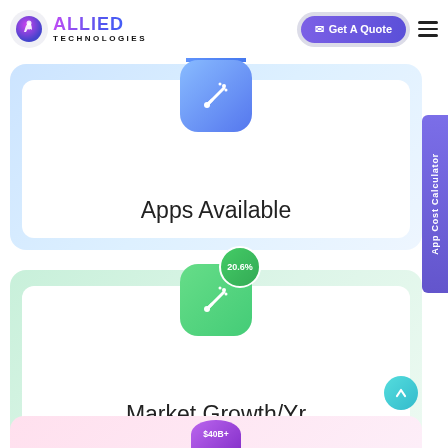Allied Technologies — Get A Quote
[Figure (infographic): Apps Available card with blue gradient icon showing a magic wand/sparkle symbol, text 'Apps Available' below]
[Figure (infographic): Market Growth/Yr card with green gradient icon and a green badge showing '20.6%', text 'Market Growth/Yr' below]
[Figure (infographic): Partial bottom card with pink gradient border, purple circle at bottom with '$40B+' label]